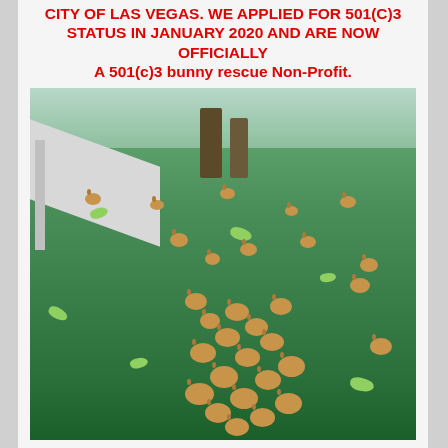CITY OF LAS VEGAS. WE APPLIED FOR 501(c)3 STATUS IN JANUARY 2020 AND ARE NOW OFFICIALLY A 501(c)3 bunny rescue Non-Profit.
[Figure (photo): A large group of brown/tan rabbits gathered on a green grass lawn, with some scattered lettuce leaves. A concrete ramp structure is visible on the left side, trees in the background, and buildings in the far background.]